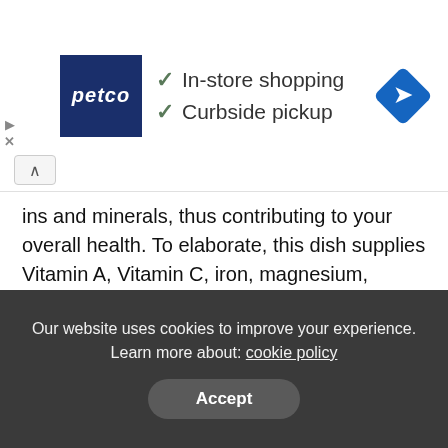[Figure (screenshot): Petco advertisement banner with logo, checkmarks for In-store shopping and Curbside pickup, and a blue navigation diamond icon on the right. Includes ad controls (play/close) and a scroll-up button.]
ins and minerals, thus contributing to your overall health. To elaborate, this dish supplies Vitamin A, Vitamin C, iron, magnesium, potassium, etc. It is a great source of antioxidants and phytonutrients which prevent the risk of serious problems like heart strokes. Also, it is absolutely low on calories, thus making it the best meal in your weight-loss journey.
Here’s what you need to prepare this delicacy-
Our website uses cookies to improve your experience. Learn more about: cookie policy
Accept